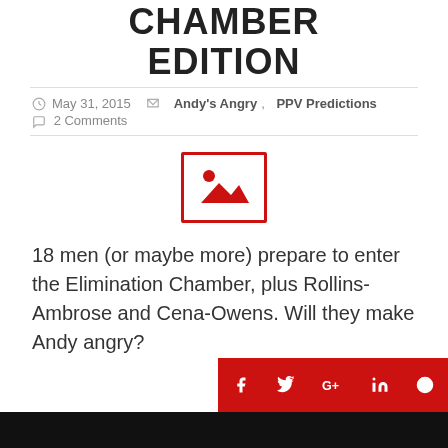CHAMBER EDITION
May 31, 2015  Andy's Angry, PPV Predictions  2 Comments
[Figure (illustration): Broken image placeholder icon with red border showing mountain/sun scene]
18 men (or maybe more) prepare to enter the Elimination Chamber, plus Rollins-Ambrose and Cena-Owens. Will they make Andy angry?